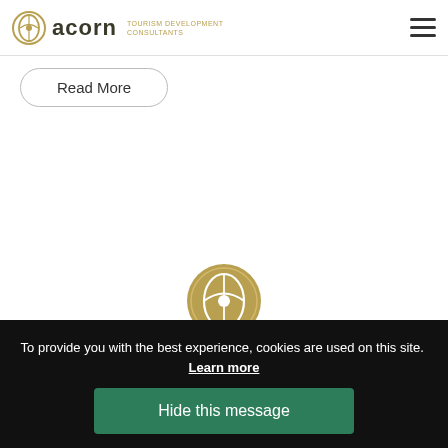acorn TOURISM DEVELOPMENT CONSULTANTS
Read More
[Figure (logo): Acorn Tourism Development Consultants circular logo icon in gold/olive color, centered on page]
To provide you with the best experience, cookies are used on this site. Learn more
Hide this message